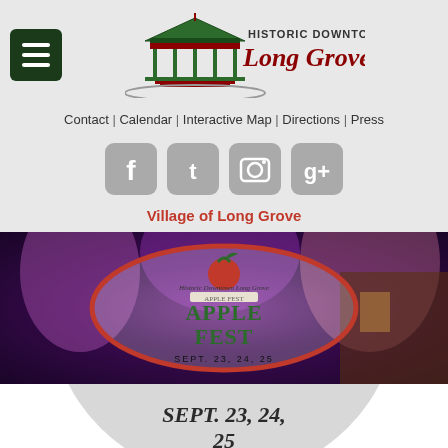[Figure (logo): Historic Downtown Long Grove logo with green pavilion/gazebo structure and cursive text]
Contact | Calendar | Interactive Map | Directions | Press
[Figure (infographic): Four social media icons: Facebook, Twitter, Instagram, Google+]
Village of Long Grove
[Figure (photo): Apple Fest banner image - concert/event scene with Apple Fest logo in red oval, text reads 'Historic Downtown Long Grove APPLE FEST Sept. 23, 24, 25']
[Figure (infographic): Partial circular logo at bottom showing 'SEPT. 23, 24, 25' with apple graphic]